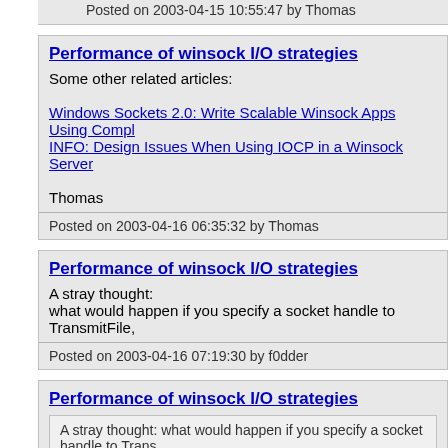Posted on 2003-04-15 10:55:47 by Thomas
Performance of winsock I/O strategies
Some other related articles:
Windows Sockets 2.0: Write Scalable Winsock Apps Using Compl
INFO: Design Issues When Using IOCP in a Winsock Server
Thomas
Posted on 2003-04-16 06:35:32 by Thomas
Performance of winsock I/O strategies
A stray thought:
what would happen if you specify a socket handle to TransmitFile,
Posted on 2003-04-16 07:19:30 by f0dder
Performance of winsock I/O strategies
A stray thought: what would happen if you specify a socket handle to Trans
Hehe :grin: I should test that some time.
Or what about using TransmitFile specifying the same socket for b